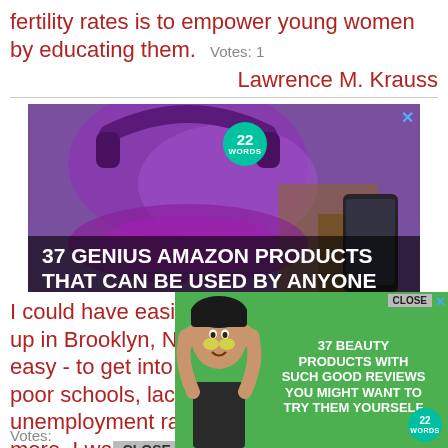fertility rates is to empower young women by educating them.  Votes: 1
Lawrence M. Krauss
[Figure (screenshot): Advertisement banner: purple headphones on wooden surface, with '22 Words' badge and text '37 GENIUS AMAZON PRODUCTS THAT CAN BE USED BY ANYONE']
I could have easily been a statistic. Growing up in Brooklyn, N.Y., it was easy - a little too easy - to get into trouble. Surrounded by poor schools, lack of resources, high unemployment rates, poverty, gangs and more, I wa... as many ...ycle of dim...nent.
[Figure (screenshot): Advertisement popup overlay: woman with face mask, green background, text '37 BEAUTY PRODUCTS WITH SUCH GOOD REVIEWS YOU MIGHT WANT TO TRY THEM YOURSELF' with 22 Words badge, CLOSE button]
Votes: